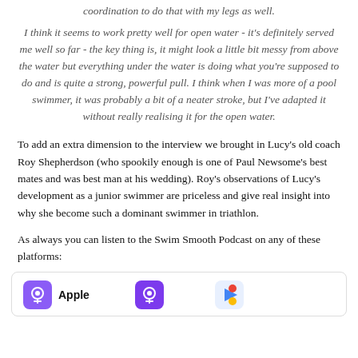coordination to do that with my legs as well.
I think it seems to work pretty well for open water - it's definitely served me well so far - the key thing is, it might look a little bit messy from above the water but everything under the water is doing what you're supposed to do and is quite a strong, powerful pull. I think when I was more of a pool swimmer, it was probably a bit of a neater stroke, but I've adapted it without really realising it for the open water.
To add an extra dimension to the interview we brought in Lucy's old coach Roy Shepherdson (who spookily enough is one of Paul Newsome's best mates and was best man at his wedding). Roy's observations of Lucy's development as a junior swimmer are priceless and give real insight into why she become such a dominant swimmer in triathlon.
As always you can listen to the Swim Smooth Podcast on any of these platforms:
[Figure (other): Podcast platform icons row showing Apple and two other platforms]